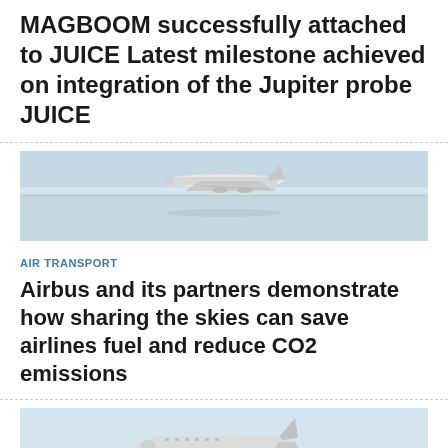MAGBOOM successfully attached to JUICE Latest milestone achieved on integration of the Jupiter probe JUICE
[Figure (photo): Aerial photo of a commercial aircraft flying above clouds or water, viewed from the side]
AIR TRANSPORT
Airbus and its partners demonstrate how sharing the skies can save airlines fuel and reduce CO2 emissions
[Figure (photo): Close-up photo of a turboprop aircraft on the ground, with propeller blades visible in foreground]